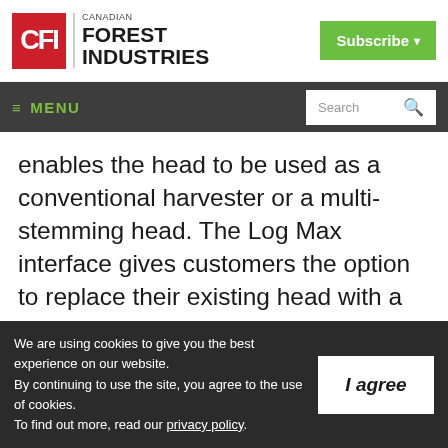[Figure (logo): Canadian Forest Industries logo with red CFI box and bold black text]
Subscribe ▾
≡ MENU  Search 🔍
enables the head to be used as a conventional harvester or a multi-stemming head. The Log Max interface gives customers the option to replace their existing head with a Log Max product while continuing to use their original computer system to control the new head.
We are using cookies to give you the best experience on our website.
By continuing to use the site, you agree to the use of cookies.
To find out more, read our privacy policy.